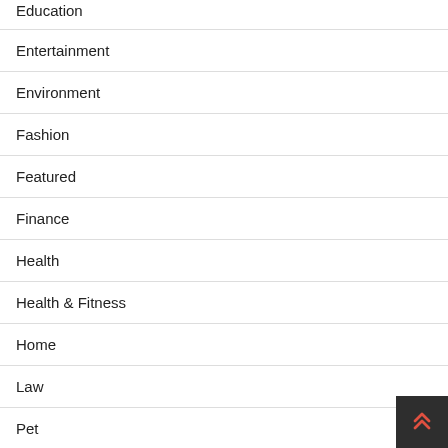Education
Entertainment
Environment
Fashion
Featured
Finance
Health
Health & Fitness
Home
Law
Pet